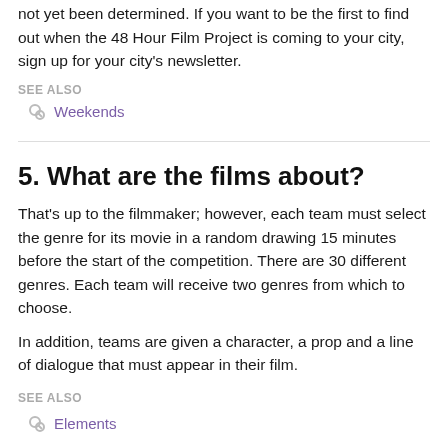not yet been determined. If you want to be the first to find out when the 48 Hour Film Project is coming to your city, sign up for your city's newsletter.
SEE ALSO
Weekends
5. What are the films about?
That's up to the filmmaker; however, each team must select the genre for its movie in a random drawing 15 minutes before the start of the competition. There are 30 different genres. Each team will receive two genres from which to choose.
In addition, teams are given a character, a prop and a line of dialogue that must appear in their film.
SEE ALSO
Elements